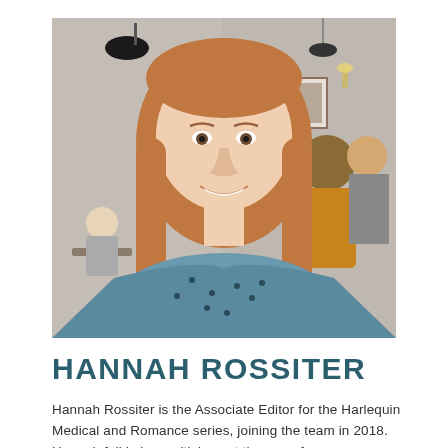[Figure (photo): Portrait photo of Hannah Rossiter, a young woman with long reddish-blonde hair, smiling, wearing a blue top with small dark floral pattern, seated in what appears to be a restaurant or café setting with other people visible in the background.]
HANNAH ROSSITER
Hannah Rossiter is the Associate Editor for the Harlequin Medical and Romance series, joining the team in 2018. Hannah fell in love with love at the age of